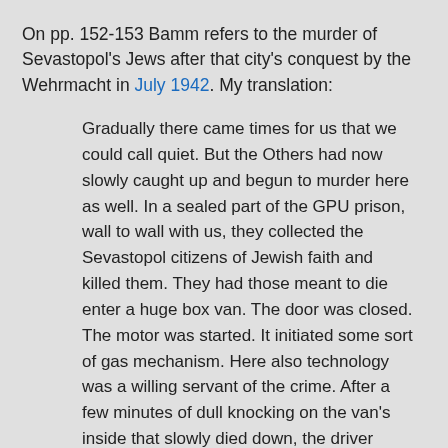On pp. 152-153 Bamm refers to the murder of Sevastopol's Jews after that city's conquest by the Wehrmacht in July 1942. My translation:
Gradually there came times for us that we could call quiet. But the Others had now slowly caught up and begun to murder here as well. In a sealed part of the GPU prison, wall to wall with us, they collected the Sevastopol citizens of Jewish faith and killed them. They had those meant to die enter a huge box van. The door was closed. The motor was started. It initiated some sort of gas mechanism. Here also technology was a willing servant of the crime. After a few minutes of dull knocking on the van's inside that slowly died down, the driver drove away. He was only transporting corpses, which were buried outside the city in old anti-tank ditches.
We knew that. We did nothing. Anyone who had really protested or done something against the murder detachment would have been arrested and li...